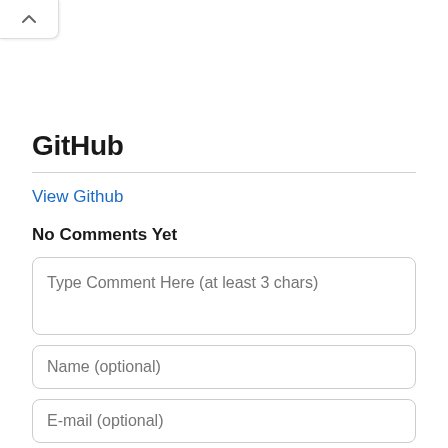[Figure (other): A toggle/collapse button with an upward-pointing chevron (^) icon, positioned at the top-left corner]
GitHub
View Github
No Comments Yet
Type Comment Here (at least 3 chars)
Name (optional)
E-mail (optional)